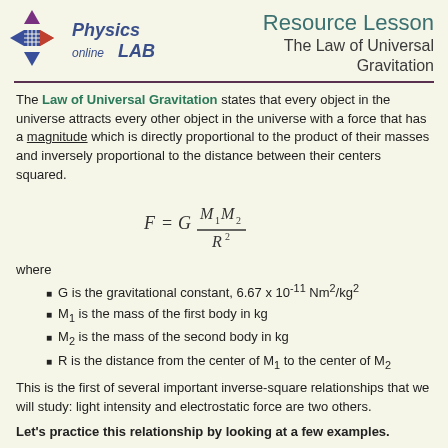[Figure (logo): Physics LAB online logo with diamond arrow shape in blue, red, and purple colors]
Resource Lesson
The Law of Universal Gravitation
The Law of Universal Gravitation states that every object in the universe attracts every other object in the universe with a force that has a magnitude which is directly proportional to the product of their masses and inversely proportional to the distance between their centers squared.
where
G is the gravitational constant, 6.67 x 10^-11 Nm^2/kg^2
M_1 is the mass of the first body in kg
M_2 is the mass of the second body in kg
R is the distance from the center of M_1 to the center of M_2
This is the first of several important inverse-square relationships that we will study: light intensity and electrostatic force are two others.
Let's practice this relationship by looking at a few examples.